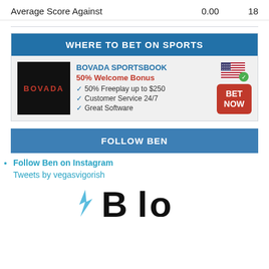|  |  |  |
| --- | --- | --- |
| Average Score Against | 0.00 | 18 |
WHERE TO BET ON SPORTS
[Figure (infographic): Bovada Sportsbook advertisement with logo, 50% Welcome Bonus offer, features list, US flag icon, and BET NOW button]
FOLLOW BEN
Follow Ben on Instagram
Tweets by vegasvigorish
[Figure (photo): Partial bottom logo/image, cropped]